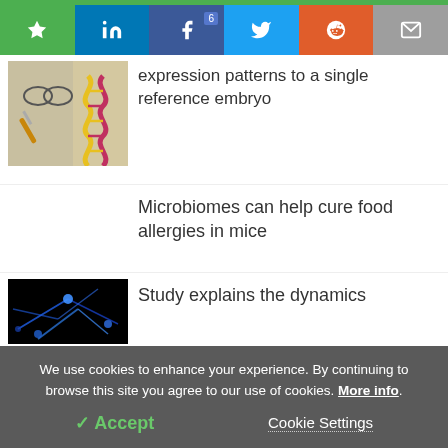LIFE SCIENCES
[Figure (screenshot): Social sharing bar with star/bookmark, LinkedIn, Facebook (6), Twitter, Reddit (orange), and email icons on colored backgrounds]
[Figure (photo): Scientist with syringe and colorful DNA double helix illustration]
expression patterns to a single reference embryo
Microbiomes can help cure food allergies in mice
[Figure (photo): Blue glowing neural/electrical network on black background]
Study explains the dynamics
We use cookies to enhance your experience. By continuing to browse this site you agree to our use of cookies. More info.
✓ Accept
Cookie Settings